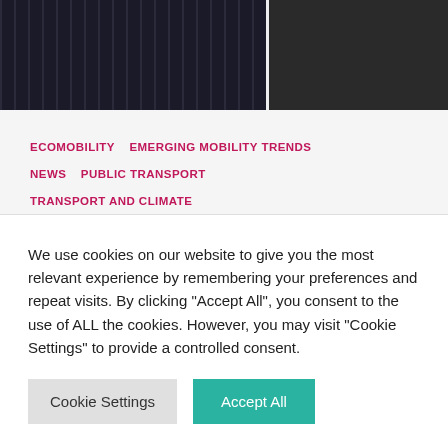[Figure (photo): Aerial view of road/urban infrastructure from above, showing buildings and street markings]
ECOMOBILITY   EMERGING MOBILITY TRENDS   NEWS   PUBLIC TRANSPORT   TRANSPORT AND CLIMATE   TRANSPORT AND EQUITY   TRANSPORT AND HEALTH   TUMI
5 cities, 5 ways of reclaiming road space for people-centered
We use cookies on our website to give you the most relevant experience by remembering your preferences and repeat visits. By clicking "Accept All", you consent to the use of ALL the cookies. However, you may visit "Cookie Settings" to provide a controlled consent.
Cookie Settings   Accept All